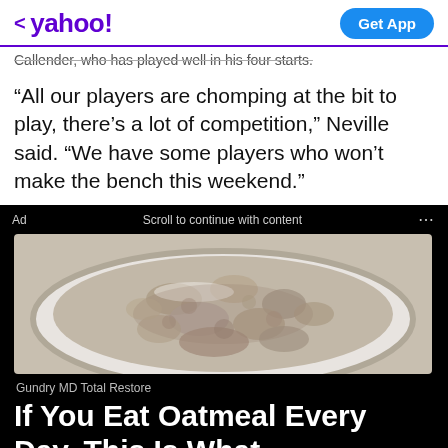< yahoo!   Get App
Callender, who has played well in his four starts.
“All our players are chomping at the bit to play, there’s a lot of competition,” Neville said. “We have some players who won’t make the bench this weekend.”
Ad   Scroll to continue with content   ...
[Figure (photo): Close-up photo of a bowl of oatmeal, gray-beige textured porridge in a white bowl on a light background.]
Gundry MD Total Restore
If You Eat Oatmeal Every Day, This Is What